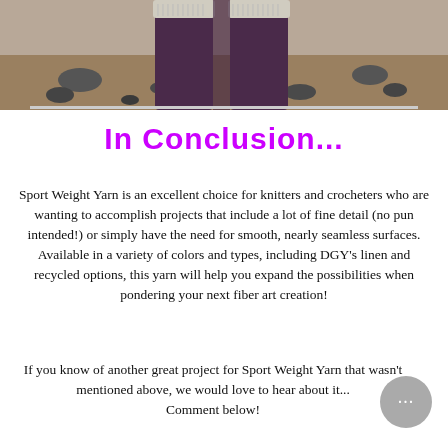[Figure (photo): Photo of a person's lower body wearing dark purple/maroon pants and a knitted boot cuff or leg warmer at the top, standing on rocky dirt ground.]
In Conclusion...
Sport Weight Yarn is an excellent choice for knitters and crocheters who are wanting to accomplish projects that include a lot of fine detail (no pun intended!) or simply have the need for smooth, nearly seamless surfaces. Available in a variety of colors and types, including DGY's linen and recycled options, this yarn will help you expand the possibilities when pondering your next fiber art creation!
If you know of another great project for Sport Weight Yarn that wasn't mentioned above, we would love to hear about it... Comment below!